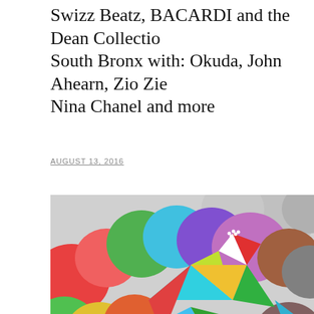Swizz Beatz, BACARDI and the Dean Collection Paint South Bronx with: Okuda, John Ahearn, Zio Ziegler, Nina Chanel and more
AUGUST 13, 2016
[Figure (illustration): Colorful geometric low-poly art painting showing abstract diamond/crystal shaped mountains and forms in vivid colors (cyan, green, yellow, red, pink, magenta, blue, white) set against a background of large rounded bubble-like shapes in various colors. A small black dotted human figure stands on the right side, and a small black dog figure is visible at the bottom left on green grass.]